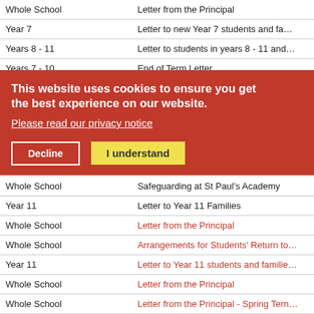|  |  |
| --- | --- |
| Whole School | Letter from the Principal |
| Year 7 | Letter to new Year 7 students and fa... |
| Years 8 - 11 | Letter to students in years 8 - 11 and... |
| Years 7 - 10 | End of Term Letter |
| Year 11 | Year 11 GCSE Results Arrangements |
| Whole School | Changes to Contact Tracing in Schoo... |
| Whole School | Changes to the School Day: 19.07.21 - |
| Whole School | Changes to the School Day |
| Whole School | Letter from Cllr Danny Thorpe |
| Whole School | Safeguarding at St Paul's Academy |
| Year 11 | Letter to Year 11 Families |
| Whole School | Letter from the Principal |
| Whole School | Arrangements for Students' Return to |
| Year 11 | Letter to Year 11 students and familie... |
| Whole School | Letter from the Principal |
| Whole School | Letter from the Principal - Spring Tern |
| Whole School | Christmas Letter to Families from the |
| Whole School | Letter from Councillor Danny Thorpe |
| Whole School | Letter from the Principal |
| Whole School | Letter from Councillor Danny Thorpe |
| Year 7 | Letter from the Principal |
| Whole School | Promoting a Trial P... |
This website uses cookies to ensure you get the best experience on our website. Please read our privacy notice
Decline | I understand